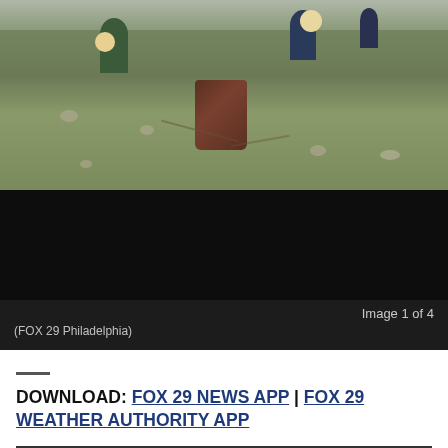[Figure (photo): Outdoor scene showing workers in safety gear on a grassy field with debris scattered around. A large brown barrel/drum is visible in the center foreground. Multiple figures in protective clothing are seen in the background.]
Image 1 of 4
(FOX 29 Philadelphia)
DOWNLOAD: FOX 29 NEWS APP | FOX 29 WEATHER AUTHORITY APP